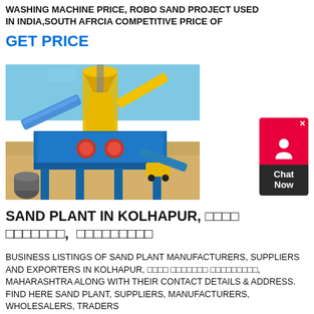WASHING MACHINE PRICE, ROBO SAND PROJECT USED IN INDIA,SOUTH AFRCIA COMPETITIVE PRICE OF
GET PRICE
[Figure (photo): Industrial sand plant / washing machine equipment with yellow and blue machinery on a sandy construction site under blue sky]
[Figure (other): Chat Now widget button with red background and person icon]
SAND PLANT IN KOLHAPUR,             ,
BUSINESS LISTINGS OF SAND PLANT MANUFACTURERS, SUPPLIERS AND EXPORTERS IN KOLHAPUR,                       , MAHARASHTRA ALONG WITH THEIR CONTACT DETAILS & ADDRESS. FIND HERE SAND PLANT, SUPPLIERS, MANUFACTURERS, WHOLESALERS, TRADERS